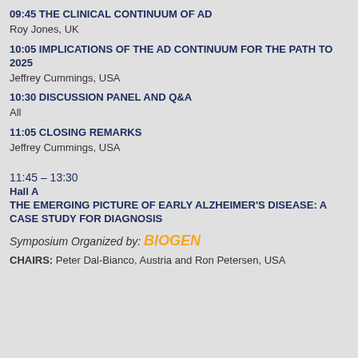09:45  THE CLINICAL CONTINUUM OF AD
Roy Jones, UK
10:05  IMPLICATIONS OF THE AD CONTINUUM FOR THE PATH TO 2025
Jeffrey Cummings, USA
10:30  DISCUSSION PANEL AND Q&A
All
11:05  CLOSING REMARKS
Jeffrey Cummings, USA
11:45 – 13:30
Hall A
THE EMERGING PICTURE OF EARLY ALZHEIMER'S DISEASE: A CASE STUDY FOR DIAGNOSIS
Symposium Organized by: BIOGEN
CHAIRS: Peter Dal-Bianco, Austria and Ron Petersen, USA